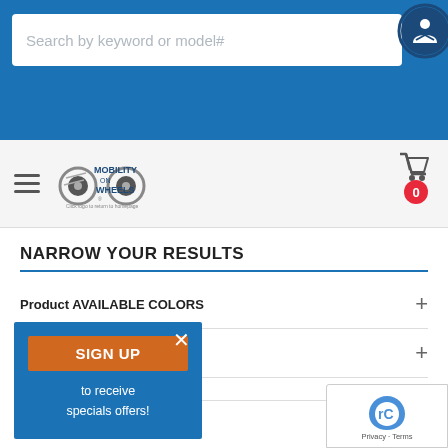[Figure (screenshot): Search bar with placeholder text 'Search by keyword or model#' and accessibility icon button]
[Figure (logo): Mobility on Wheels logo with two wheels graphic and tagline 'Click logo to return to homepage']
[Figure (other): Shopping cart icon with red badge showing 0 items]
NARROW YOUR RESULTS
Product AVAILABLE COLORS
[Figure (infographic): Sign up popup with orange SIGN UP button and text 'to receive specials offers!' on blue background with X close button]
[Figure (other): reCAPTCHA badge with Privacy and Terms links]